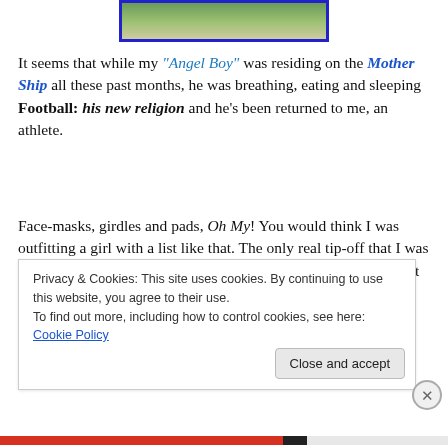[Figure (photo): Partial photo of a person in white sports uniform, outdoors on grass, with a blue border frame.]
It seems that while my "Angel Boy" was residing on the Mother Ship all these past months, he was breathing, eating and sleeping Football: his new religion and he's been returned to me, an athlete.
Face-masks, girdles and pads, Oh My! You would think I was outfitting a girl with a list like that. The only real tip-off that I was buying equipment for a boy was the "cup" mixed in with the rest of the must haves. And when you have to
Privacy & Cookies: This site uses cookies. By continuing to use this website, you agree to their use.
To find out more, including how to control cookies, see here: Cookie Policy